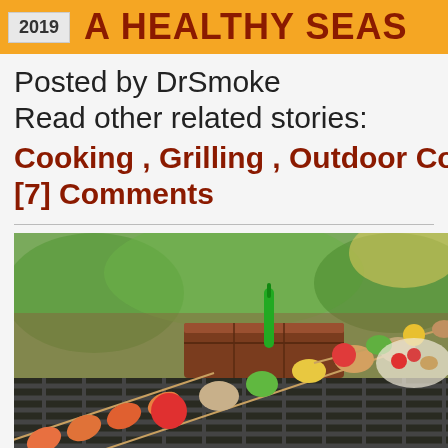2019  A HEALTHY SEAS
Posted by DrSmoke
Read other related stories:
Cooking , Grilling , Outdoor Coo
[7] Comments
[Figure (photo): Vegetable and shrimp skewers on a charcoal grill outdoors, with tomatoes, mushrooms, bell peppers, and shrimp visible on the grill grates]